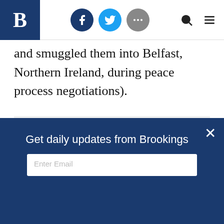Brookings Institution header with logo, social icons (Facebook, Twitter, more), search and menu
and smuggled them into Belfast, Northern Ireland, during peace process negotiations).
CONTACT:
Email

TOPICS:
Cybersecurity
National Security
Technology & Innovation

PROGRAMS:
Governance Studies
Get daily updates from Brookings
Enter Email